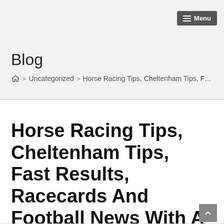Menu
Blog
Home > Uncategorized > Horse Racing Tips, Cheltenham Tips, Fast Res
Horse Racing Tips, Cheltenham Tips, Fast Results, Racecards And Football News With A Twist